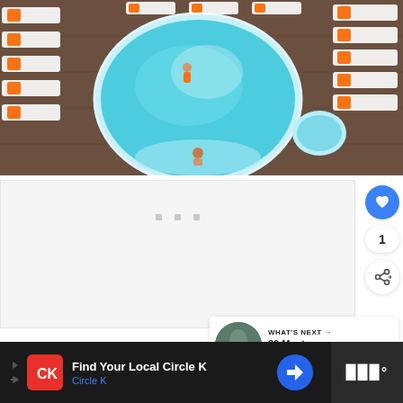[Figure (photo): Aerial view of a circular swimming pool with turquoise water surrounded by white lounge chairs and daybeds with orange cushions, on a dark wooden deck. Two people are visible near the pool. A smaller circular hot tub is visible to the right.]
ADVERTISEMENT
[Figure (other): Like/heart button (blue circle with heart icon), count of 1, and share button (white circle with share icon)]
[Figure (other): What's Next card showing a thumbnail image of a scenic location and text: WHAT'S NEXT → 20 Most Instagramma...]
[Figure (other): Advertisement banner for Circle K: Find Your Local Circle K, with Circle K logo, navigation icon, and a dark right panel with app icon]